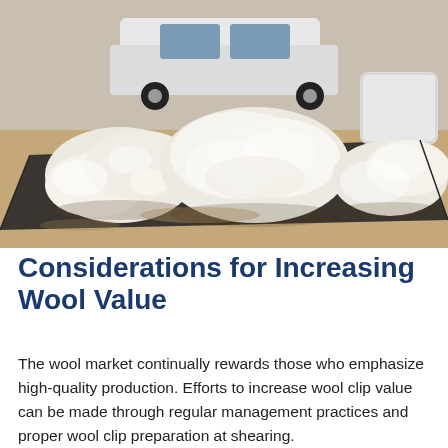[Figure (photo): Outdoor photo showing large piles of freshly shorn white wool fleece spread on dark tarps on sandy/dusty ground, with a white van and large white wool bale bags visible in the background.]
Considerations for Increasing Wool Value
The wool market continually rewards those who emphasize high-quality production. Efforts to increase wool clip value can be made through regular management practices and proper wool clip preparation at shearing.